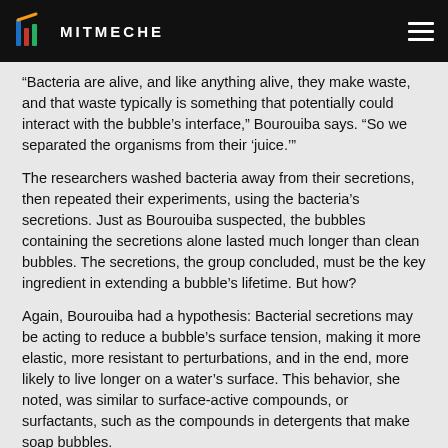MITMECHE
“Bacteria are alive, and like anything alive, they make waste, and that waste typically is something that potentially could interact with the bubble’s interface,” Bourouiba says. “So we separated the organisms from their ‘juice.’”
The researchers washed bacteria away from their secretions, then repeated their experiments, using the bacteria’s secretions. Just as Bourouiba suspected, the bubbles containing the secretions alone lasted much longer than clean bubbles. The secretions, the group concluded, must be the key ingredient in extending a bubble’s lifetime. But how?
Again, Bourouiba had a hypothesis: Bacterial secretions may be acting to reduce a bubble’s surface tension, making it more elastic, more resistant to perturbations, and in the end, more likely to live longer on a water’s surface. This behavior, she noted, was similar to surface-active compounds, or surfactants, such as the compounds in detergents that make soap bubbles.